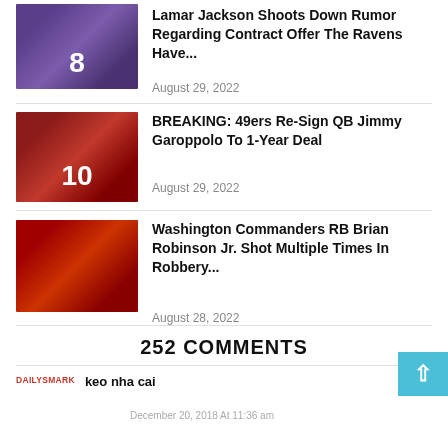[Figure (photo): Lamar Jackson in Baltimore Ravens purple jersey number 8]
Lamar Jackson Shoots Down Rumor Regarding Contract Offer The Ravens Have...
August 29, 2022
[Figure (photo): Jimmy Garoppolo in San Francisco 49ers red jersey number 10]
BREAKING: 49ers Re-Sign QB Jimmy Garoppolo To 1-Year Deal
August 29, 2022
[Figure (photo): Brian Robinson Jr. in Washington Commanders white uniform]
Washington Commanders RB Brian Robinson Jr. Shot Multiple Times In Robbery...
August 28, 2022
252 COMMENTS
[Figure (logo): DailySmark logo in red]
keo nha cai
December 20, 2018 At 11:36 am